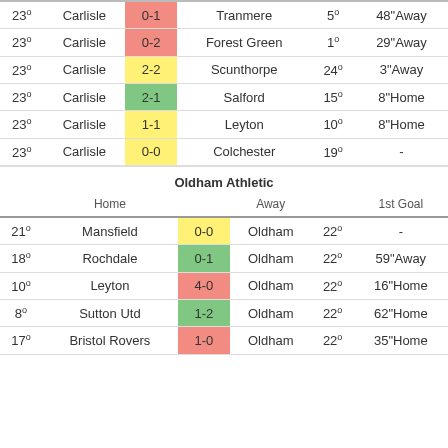| Pos | Home | Score | Away | Pos | 1st Goal |
| --- | --- | --- | --- | --- | --- |
| 23° | Carlisle | 0-1 | Tranmere | 5° | 48"Away |
| 23° | Carlisle | 0-2 | Forest Green | 1° | 29"Away |
| 23° | Carlisle | 2-2 | Scunthorpe | 24° | 3"Away |
| 23° | Carlisle | 2-1 | Salford | 15° | 8"Home |
| 23° | Carlisle | 1-1 | Leyton | 10° | 8"Home |
| 23° | Carlisle | 0-0 | Colchester | 19° | - |
Oldham Athletic
| Pos | Home | Score | Away | Pos | 1st Goal |
| --- | --- | --- | --- | --- | --- |
| 21° | Mansfield | 0-0 | Oldham | 22° | - |
| 18° | Rochdale | 0-1 | Oldham | 22° | 59"Away |
| 10° | Leyton | 4-0 | Oldham | 22° | 16"Home |
| 8° | Sutton Utd | 1-2 | Oldham | 22° | 62"Home |
| 17° | Bristol Rovers | 1-0 | Oldham | 22° | 35"Home |